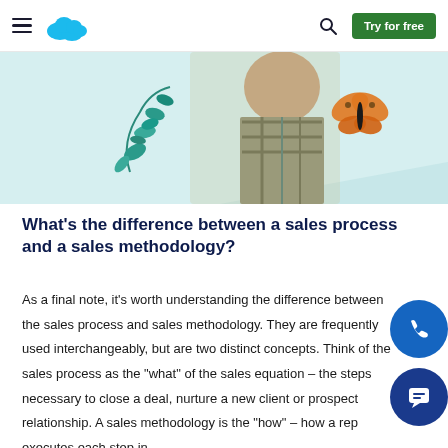Salesforce navigation bar with hamburger menu, cloud logo, search icon, and Try for free button
[Figure (illustration): Hero banner with light teal background showing a man in plaid shirt, teal botanical leaf illustrations, and an orange monarch butterfly]
What’s the difference between a sales process and a sales methodology?
As a final note, it’s worth understanding the difference between the sales process and sales methodology. They are frequently used interchangeably, but are two distinct concepts. Think of the sales process as the “what” of the sales equation – the steps necessary to close a deal, nurture a new client or prospect relationship. A sales methodology is the “how” – how a rep executes each step in